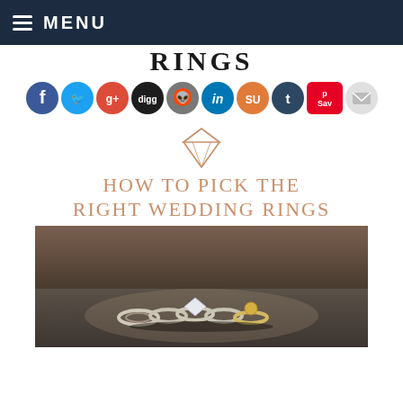MENU
RIGHT WEDDING RINGS
[Figure (screenshot): Social media share buttons: Facebook, Twitter, Google+, Digg, Reddit, LinkedIn, StumbleUpon, Tumblr, Pinterest Save, Email]
[Figure (illustration): Diamond icon in rose/copper color]
HOW TO PICK THE RIGHT WEDDING RINGS
[Figure (photo): Photograph of multiple diamond wedding rings lined up on a dark surface with blurred background]